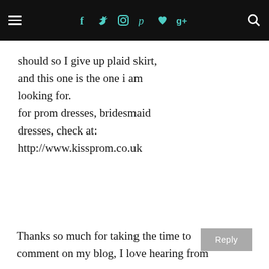≡ [social icons: facebook, twitter, instagram, pinterest, heart, google+] [search]
should so I give up plaid skirt, and this one is the one i am looking for.
for prom dresses, bridesmaid dresses, check at: http://www.kissprom.co.uk
Reply
Thanks so much for taking the time to comment on my blog, I love hearing from